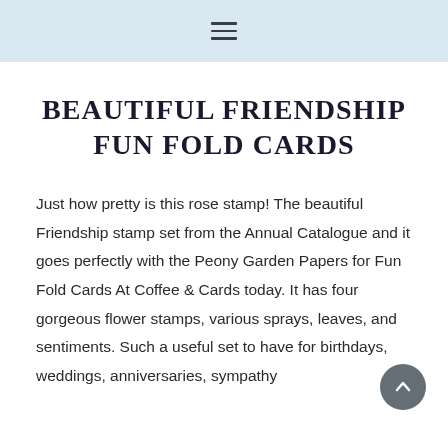≡
BEAUTIFUL FRIENDSHIP FUN FOLD CARDS
Just how pretty is this rose stamp! The beautiful Friendship stamp set from the Annual Catalogue and it goes perfectly with the Peony Garden Papers for Fun Fold Cards At Coffee & Cards today. It has four gorgeous flower stamps, various sprays, leaves, and sentiments. Such a useful set to have for birthdays, weddings, anniversaries, sympathy cards. A great all-rounder!